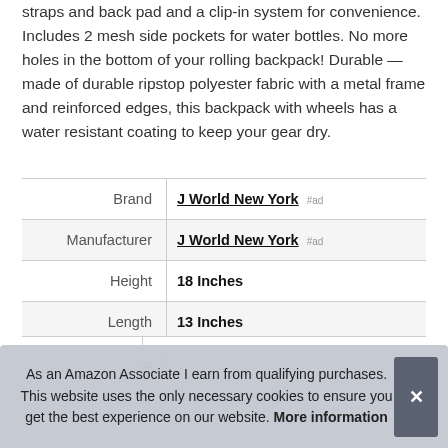straps and back pad and a clip-in system for convenience. Includes 2 mesh side pockets for water bottles. No more holes in the bottom of your rolling backpack! Durable — made of durable ripstop polyester fabric with a metal frame and reinforced edges, this backpack with wheels has a water resistant coating to keep your gear dry.
|  |  |
| --- | --- |
| Brand | J World New York #ad |
| Manufacturer | J World New York #ad |
| Height | 18 Inches |
| Length | 13 Inches |
| P |  |
As an Amazon Associate I earn from qualifying purchases. This website uses the only necessary cookies to ensure you get the best experience on our website. More information